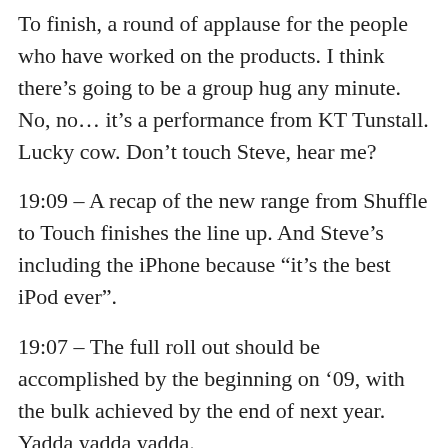To finish, a round of applause for the people who have worked on the products. I think there’s going to be a group hug any minute. No, no… it’s a performance from KT Tunstall. Lucky cow. Don’t touch Steve, hear me?
19:09 – A recap of the new range from Shuffle to Touch finishes the line up. And Steve’s including the iPhone because “it’s the best iPod ever”.
19:07 – The full roll out should be accomplished by the beginning on ’09, with the bulk achieved by the end of next year. Yadda yadda yadda.
Click here to find out more! 19:04 – Apparently the most asked question in Starbucks is “what song am I listening to?”. Now with the iPod Touch and the iPhone,